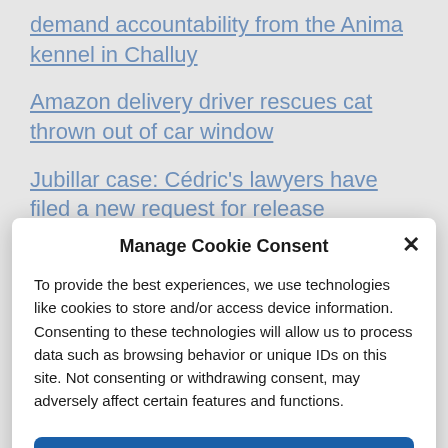demand accountability from the Anima kennel in Challuy
Amazon delivery driver rescues cat thrown out of car window
Jubillar case: Cédric's lawyers have filed a new request for release
Manage Cookie Consent
To provide the best experiences, we use technologies like cookies to store and/or access device information. Consenting to these technologies will allow us to process data such as browsing behavior or unique IDs on this site. Not consenting or withdrawing consent, may adversely affect certain features and functions.
Accept
Cookie Policy